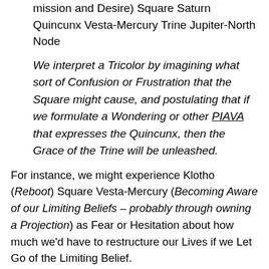mission and Desire) Square Saturn Quincunx Vesta-Mercury Trine Jupiter-North Node
We interpret a Tricolor by imagining what sort of Confusion or Frustration that the Square might cause, and postulating that if we formulate a Wondering or other PIAVA that expresses the Quincunx, then the Grace of the Trine will be unleashed.
For instance, we might experience Klotho (Reboot) Square Vesta-Mercury (Becoming Aware of our Limiting Beliefs – probably through owning a Projection) as Fear or Hesitation about how much we'd have to restructure our Lives if we Let Go of the Limiting Belief.
“Owning a Projection” means that, in a place